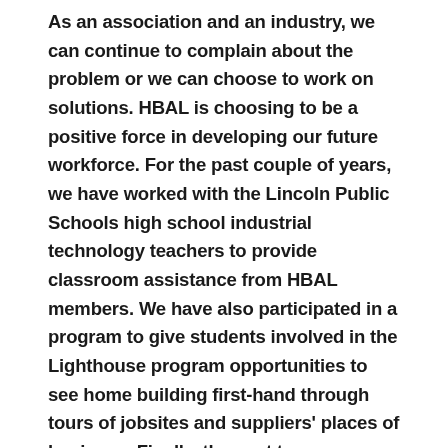As an association and an industry, we can continue to complain about the problem or we can choose to work on solutions. HBAL is choosing to be a positive force in developing our future workforce. For the past couple of years, we have worked with the Lincoln Public Schools high school industrial technology teachers to provide classroom assistance from HBAL members. We have also participated in a program to give students involved in the Lighthouse program opportunities to see home building first-hand through tours of jobsites and suppliers' places of business. Finally, the past two years HBAL has helped sponsor the Spring Construction Career Day for local high school students. The key